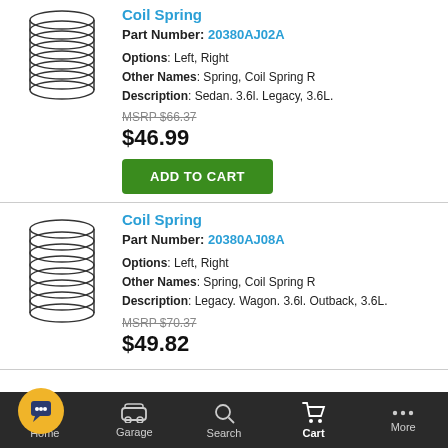[Figure (illustration): Line drawing of a coil spring, top-cropped]
Coil Spring
Part Number: 20380AJ02A
Options: Left, Right
Other Names: Spring, Coil Spring R
Description: Sedan. 3.6l. Legacy, 3.6L.
MSRP $66.37
$46.99
ADD TO CART
[Figure (illustration): Line drawing of a coil spring]
Coil Spring
Part Number: 20380AJ08A
Options: Left, Right
Other Names: Spring, Coil Spring R
Description: Legacy. Wagon. 3.6l. Outback, 3.6L.
MSRP $70.37
$49.82
Home  Garage  Search  Cart  More